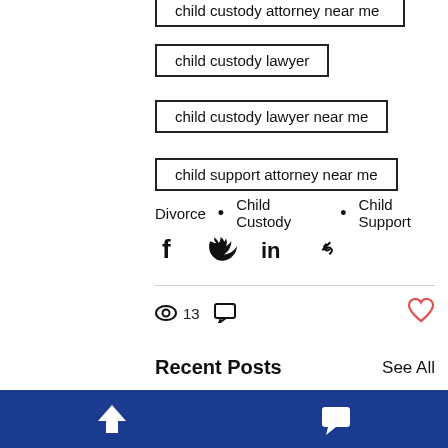child custody attorney near me
child custody lawyer
child custody lawyer near me
child support attorney near me
Divorce • Child Custody • Child Support
[Figure (infographic): Social share buttons: Facebook, Twitter, LinkedIn, link]
13 views, comment icon, like button
Recent Posts
See All
[Figure (photo): Three post thumbnails partially visible at bottom including one with Custody text]
[Figure (infographic): Bottom navigation bar with dark blue background, upload and chat icons]